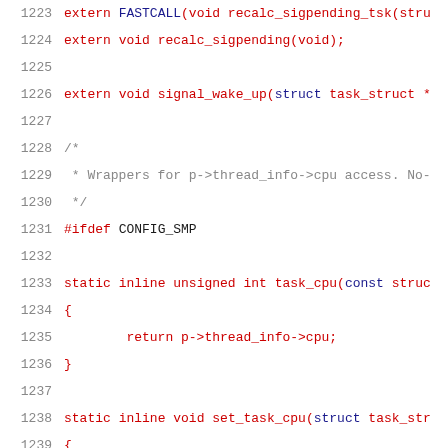1223    extern FASTCALL(void recalc_sigpending_tsk(stru
1224    extern void recalc_sigpending(void);
1225
1226    extern void signal_wake_up(struct task_struct *
1227
1228    /*
1229     * Wrappers for p->thread_info->cpu access. No-
1230     */
1231    #ifdef CONFIG_SMP
1232
1233    static inline unsigned int task_cpu(const struc
1234    {
1235            return p->thread_info->cpu;
1236    }
1237
1238    static inline void set_task_cpu(struct task_str
1239    {
1240            p->thread_info->cpu = cpu;
1241    }
1242
1243    #else